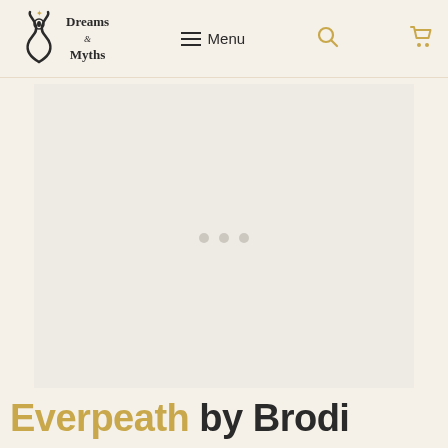Dreams & Myths — Menu navigation header with logo, menu button, search icon, and cart icon
[Figure (photo): A large product image placeholder with loading indicator (three dots) on a light beige background]
Everpeath by Brodi